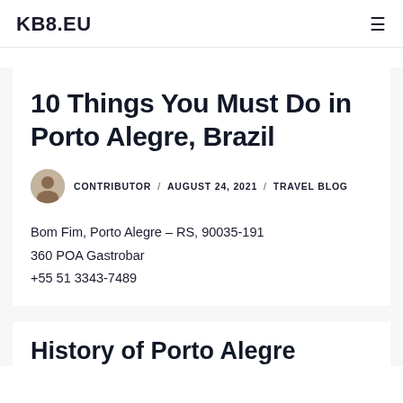KB8.EU
10 Things You Must Do in Porto Alegre, Brazil
CONTRIBUTOR / AUGUST 24, 2021 / TRAVEL BLOG
Bom Fim, Porto Alegre – RS, 90035-191
360 POA Gastrobar
+55 51 3343-7489
History of Porto Alegre